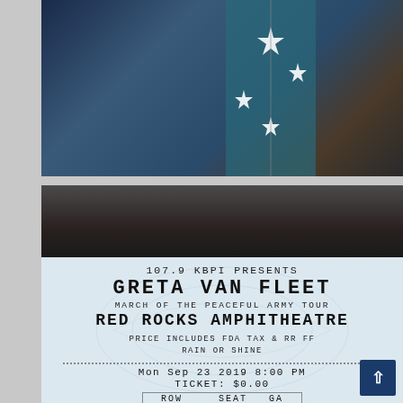[Figure (photo): Concert performer on stage wearing a teal/blue outfit with star patterns, photographed from below against a dark background]
[Figure (photo): Dark background photo, appears to be a concert venue or stage setting]
[Figure (photo): Concert ticket stub showing: 107.9 KBPI PRESENTS / GRETA VAN FLEET / MARCH OF THE PEACEFUL ARMY TOUR / RED ROCKS AMPHITHEATRE / PRICE INCLUDES FDA TAX & RR FF / RAIN OR SHINE / Mon Sep 23 2019 8:00 PM / TICKET: $0.00 / ROW: / SEAT: GA]